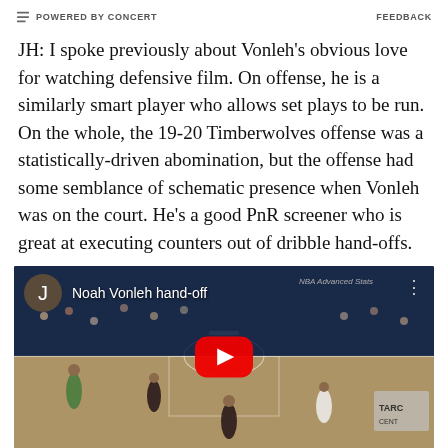POWERED BY CONCERT   FEEDBACK
JH: I spoke previously about Vonleh's obvious love for watching defensive film. On offense, he is a similarly smart player who allows set plays to be run. On the whole, the 19-20 Timberwolves offense was a statistically-driven abomination, but the offense had some semblance of schematic presence when Vonleh was on the court. He's a good PnR screener who is great at executing counters out of dribble hand-offs.
[Figure (screenshot): YouTube video thumbnail showing a basketball game with players on court. Title reads 'Noah Vonleh hand-off'. Red YouTube play button in center. NBA Advanced Stats watermark in top right.]